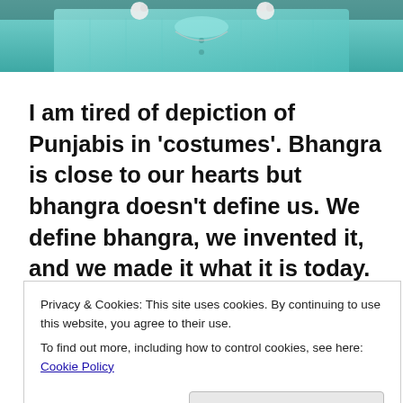[Figure (photo): Cropped photo showing a person in teal/turquoise traditional Punjabi costume with white pom-pom accessories]
I am tired of depiction of Punjabis in 'costumes'. Bhangra is close to our hearts but bhangra doesn't define us. We define bhangra, we invented it, and we made it what it is today.
Don't use it to speak to us.
Privacy & Cookies: This site uses cookies. By continuing to use this website, you agree to their use.
To find out more, including how to control cookies, see here: Cookie Policy